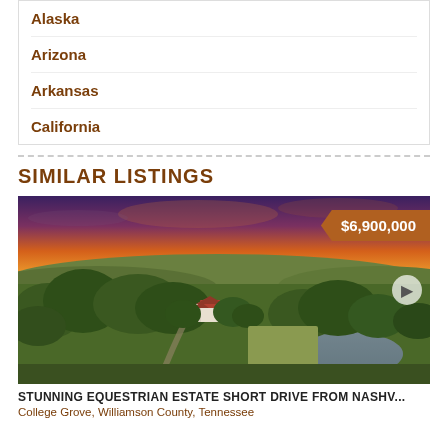Alaska
Arizona
Arkansas
California
SIMILAR LISTINGS
[Figure (photo): Aerial drone photo of an equestrian estate at sunset showing a large manor house surrounded by green trees and fields, with a pond and rolling hills in the background under an orange-pink sky. Price badge shows $6,900,000.]
STUNNING EQUESTRIAN ESTATE SHORT DRIVE FROM NASHV...
College Grove, Williamson County, Tennessee